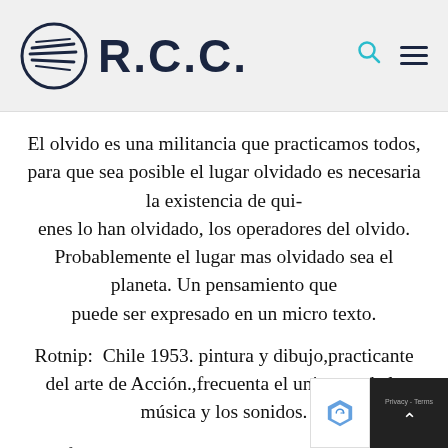[Figure (logo): R.C.C. logo with circular emblem containing stylized horizontal lines on the left, bold sans-serif text 'R.C.C.' on the right, search icon and hamburger menu on the far right, set in a light grey header bar]
El olvido es una militancia que practicamos todos, para que sea posible el lugar olvidado es necesaria la existencia de qui-enes lo han olvidado, los operadores del olvido. Probablemente el lugar mas olvidado sea el planeta. Un pensamiento que puede ser expresado en un micro texto.
Rotnip:  Chile 1953. pintura y dibujo,practicante del arte de Acción.,frecuenta el universo de la música y los sonidos.
The forgotten space was remembered and visited, the